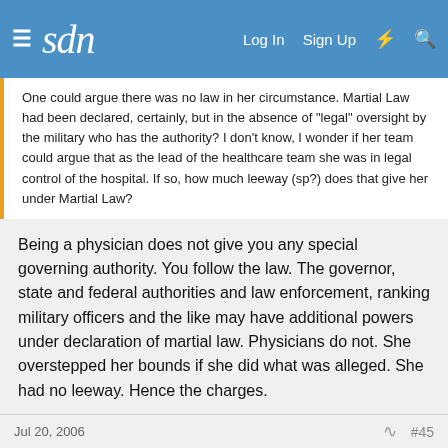sdn  Log In  Sign Up
One could argue there was no law in her circumstance. Martial Law had been declared, certainly, but in the absence of "legal" oversight by the military who has the authority? I don't know, I wonder if her team could argue that as the lead of the healthcare team she was in legal control of the hospital. If so, how much leeway (sp?) does that give her under Martial Law?
Being a physician does not give you any special governing authority. You follow the law. The governor, state and federal authorities and law enforcement, ranking military officers and the like may have additional powers under declaration of martial law. Physicians do not. She overstepped her bounds if she did what was alleged. She had no leeway. Hence the charges.
BAM!
Senior Member  15+ Year Member
Jul 20, 2006  #45